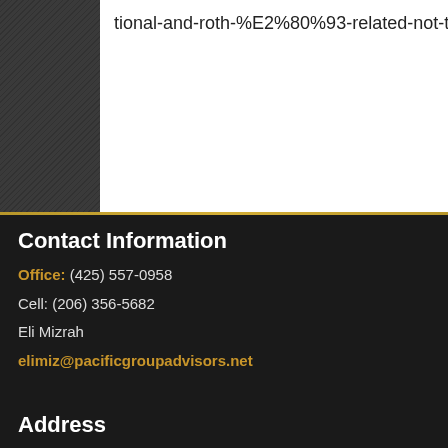tional-and-roth-%E2%80%93-related-not-twins
Contact Information
Office: (425) 557-0958
Cell: (206) 356-5682
Eli Mizrah
elimiz@pacificgroupadvisors.net
Address